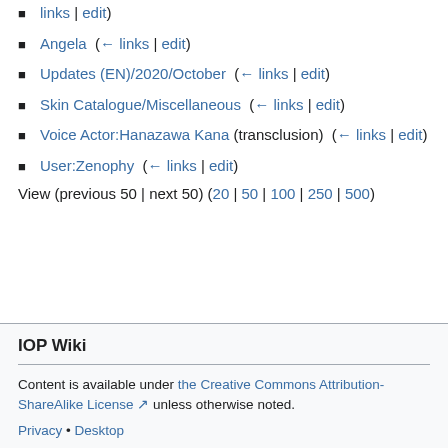links | edit)
Angela  (← links | edit)
Updates (EN)/2020/October  (← links | edit)
Skin Catalogue/Miscellaneous  (← links | edit)
Voice Actor:Hanazawa Kana (transclusion)  (← links | edit)
User:Zenophy  (← links | edit)
View (previous 50 | next 50) (20 | 50 | 100 | 250 | 500)
IOP Wiki
Content is available under the Creative Commons Attribution-ShareAlike License unless otherwise noted.
Privacy • Desktop